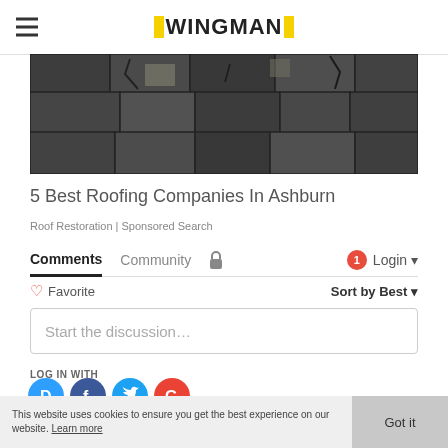WINGMAN
[Figure (photo): Close-up photo of damaged/cracked dark asphalt roof shingles]
5 Best Roofing Companies In Ashburn
Roof Restoration | Sponsored Search
Comments  Community  Login
♡ Favorite   Sort by Best
Start the discussion…
LOG IN WITH
[Figure (infographic): Social login icons: Disqus (blue circle D), Facebook (dark blue circle f), Twitter (light blue circle bird), Google (red circle G)]
This website uses cookies to ensure you get the best experience on our website. Learn more
Got it